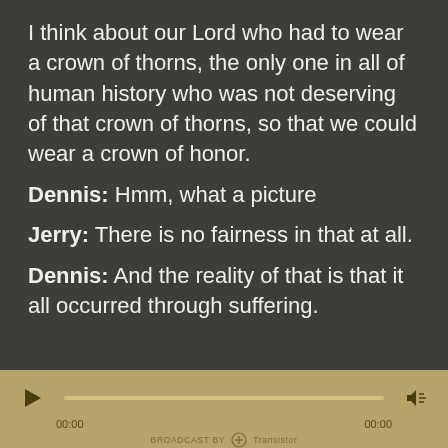I think about our Lord who had to wear a crown of thorns, the only one in all of human history who was not deserving of that crown of thorns, so that we could wear a crown of honor.
Dennis:  Hmm, what a picture
Jerry:  There is no fairness in that at all.
Dennis:  And the reality of that is that it all occurred through suffering.
[Figure (other): Audio player bar with play button, progress bar, time stamps 00:00 and 00:00, volume button, and Transistor broadcast logo at bottom]